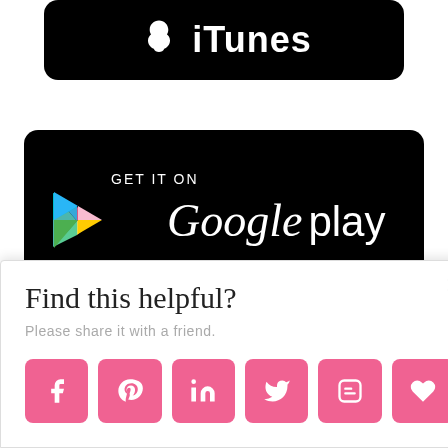[Figure (logo): iTunes download badge, partially visible at top of page, black rounded rectangle with white text and Apple logo]
[Figure (logo): GET IT ON Google Play badge, black rounded rectangle with colorful Google Play triangle logo and white text]
[Figure (logo): Third app store badge, partially visible at bottom of page, black rounded rectangle]
Find this helpful?
Please share it with a friend.
[Figure (infographic): Row of six pink social sharing buttons: Facebook, Pinterest, LinkedIn, Twitter, Blogger, and heart/like icon]